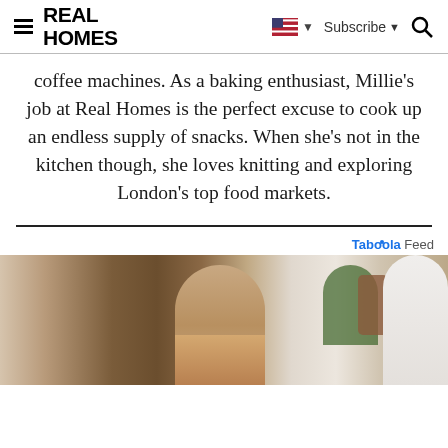REAL HOMES
coffee machines. As a baking enthusiast, Millie’s job at Real Homes is the perfect excuse to cook up an endless supply of snacks. When she’s not in the kitchen though, she loves knitting and exploring London’s top food markets.
[Figure (photo): Photo of a person in a room with a plant and lamp, shown from the shoulders up, partially cropped at the bottom of the page]
TabÐ¾la Feed